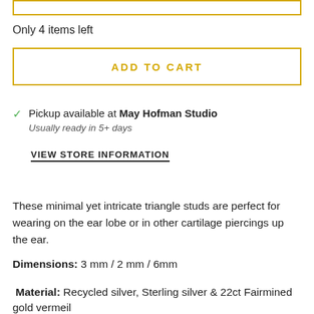Only 4 items left
ADD TO CART
Pickup available at May Hofman Studio
Usually ready in 5+ days
VIEW STORE INFORMATION
These minimal yet intricate triangle studs are perfect for wearing on the ear lobe or in other cartilage piercings up the ear.
Dimensions: 3 mm / 2 mm / 6mm
Material: Recycled silver, Sterling silver & 22ct Fairmined gold vermeil